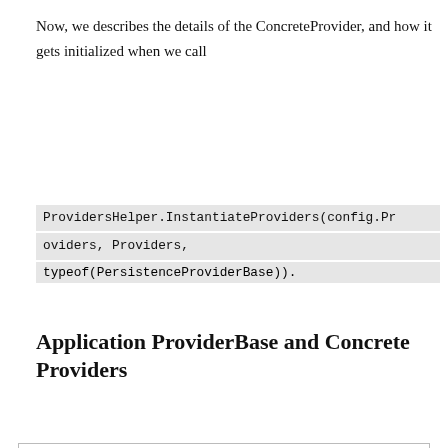Now, we describes the details of the ConcreteProvider, and how it gets initialized when we call
ProvidersHelper.InstantiateProviders(config.Providers, Providers, typeof(PersistenceProviderBase)).
Application ProviderBase and Concrete Providers
Privacy & Cookies: This site uses cookies. By continuing to use this website, you agree to their use.
To find out more, including how to control cookies, see here: Cookie Policy
implement those API in their own way. As we can see